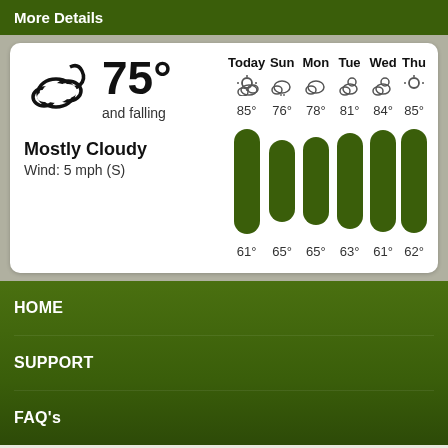More Details
[Figure (infographic): Weather widget showing current conditions: mostly cloudy cloud icon, 75° and falling, Mostly Cloudy, Wind: 5 mph (S), with 6-day forecast columns for Today (85°/61°), Sun (76°/65°), Mon (78°/65°), Tue (81°/63°), Wed (84°/61°), Thu (85°/62°) with green bar charts and weather icons]
HOME
SUPPORT
FAQ's
USGA Copyright Information
Back to the top of Big Run Golf Club